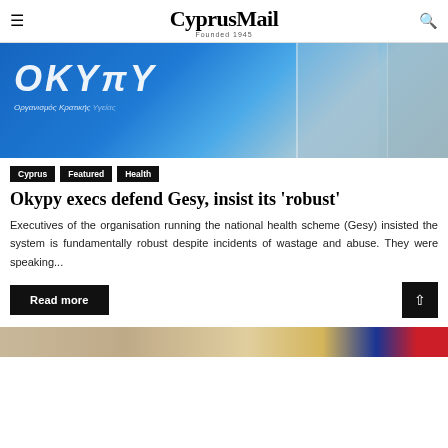CyprusMail Founded 1945
[Figure (photo): OKYpy (Organismos Kratikou Ygeias) building interior with blue wall signage showing OKYPY logo and Greek text, glass doors/panels visible]
Cyprus
Featured
Health
Okypy execs defend Gesy, insist its 'robust'
Executives of the organisation running the national health scheme (Gesy) insisted the system is fundamentally robust despite incidents of wastage and abuse. They were speaking...
Read more
[Figure (photo): Partial view of next article image showing what appears to be a flag or colored background]